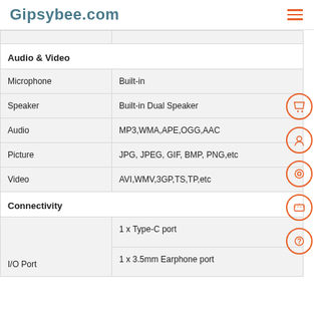Gipsybee.com
| Audio & Video |  |
| Microphone | Built-in |
| Speaker | Built-in Dual Speaker |
| Audio | MP3,WMA,APE,OGG,AAC |
| Picture | JPG, JPEG, GIF, BMP, PNG,etc |
| Video | AVI,WMV,3GP,TS,TP,etc |
| Connectivity |  |
|  | 1 x Type-C port
1 x 3.5mm Earphone port |
| I/O Port |  |